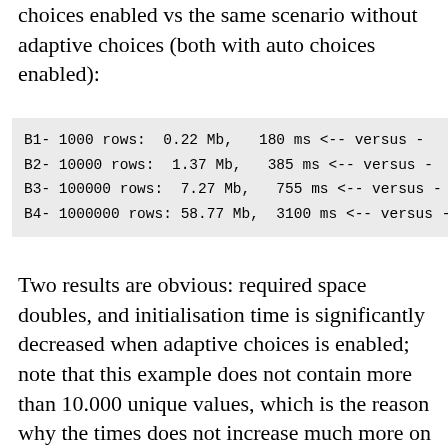choices enabled vs the same scenario without adaptive choices (both with auto choices enabled):
B1-      1000 rows:  0.22 Mb,   180 ms <-- versus -
B2-    10000 rows:  1.37 Mb,   385 ms <-- versus -
B3-   100000 rows:  7.27 Mb,   755 ms <-- versus -
B4- 1000000 rows: 58.77 Mb,  3100 ms <-- versus -
Two results are obvious: required space doubles, and initialisation time is significantly decreased when adaptive choices is enabled; note that this example does not contain more than 10.000 unique values, which is the reason why the times does not increase much more on cases B3